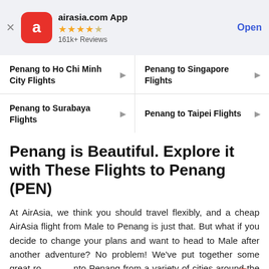[Figure (screenshot): AirAsia app banner with red app icon showing letter 'a', app name 'airasia.com App', 4.5 star rating, '161k+ Reviews', and 'Open' button]
Penang to Ho Chi Minh City Flights
Penang to Singapore Flights
Penang to Surabaya Flights
Penang to Taipei Flights
Penang is Beautiful. Explore it with These Flights to Penang (PEN)
At AirAsia, we think you should travel flexibly, and a cheap AirAsia flight from Male to Penang is just that. But what if you decide to change your plans and want to head to Male after another adventure? No problem! We've put together some great routes into Penang from a variety of cities around the world. Just click on any of the routes below that interest you to find a great cheap flight to Penang.